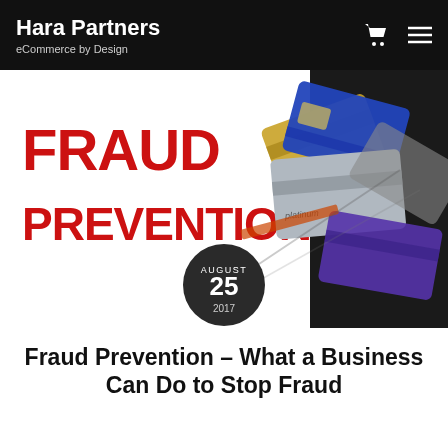Hara Partners — eCommerce by Design
[Figure (illustration): Fraud Prevention hero image with large red text 'FRAUD PREVENTION' on the left and scattered credit cards on the right (blue, silver platinum, gold, purple cards). A dark circular date badge reads 'AUGUST 25 2017' overlaid at the bottom center.]
Fraud Prevention – What a Business Can Do to Stop Fraud